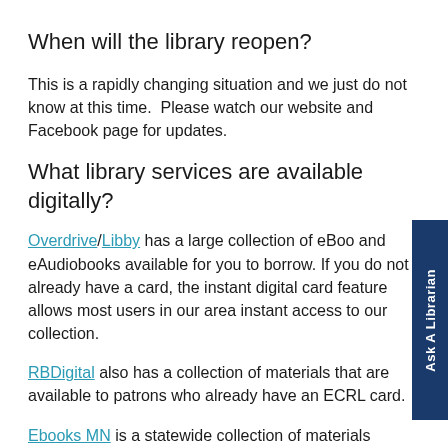When will the library reopen?
This is a rapidly changing situation and we just do not know at this time.  Please watch our website and Facebook page for updates.
What library services are available digitally?
Overdrive/Libby has a large collection of eBooks and eAudiobooks available for you to borrow. If you do not already have a card, the instant digital card feature allows most users in our area instant access to our collection.
RBDigital also has a collection of materials that are available to patrons who already have an ECRL card.
Ebooks MN is a statewide collection of materials